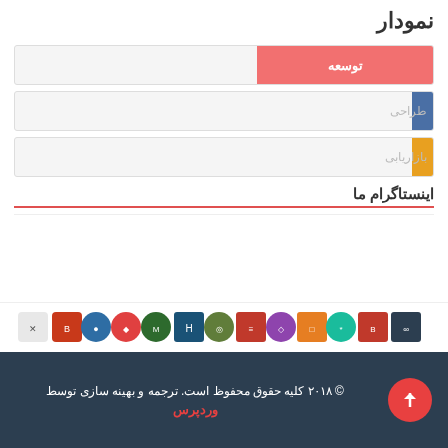نمودار
[Figure (bar-chart): نمودار]
اینستاگرام ما
[Figure (illustration): Row of bank/institution logos]
© ۲۰۱۸ کلیه حقوق محفوظ است. ترجمه و بهینه سازی توسط وردپرس